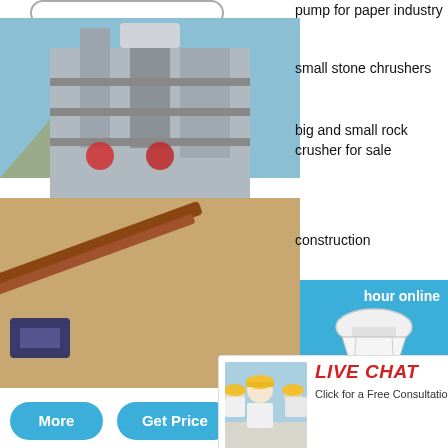[Figure (photo): Industrial factory/plant building with metal structure and conveyor belt with crushed rock on the ground]
pump for paper industry
small stone chrushers
big and small rock crusher for sale
construction
[Figure (photo): Live Chat popup overlay with smiling workers in yellow hard hats. Red LIVE CHAT title, Chat now and Chat later buttons.]
hour online
[Figure (photo): White cone crusher machine on blue background with Click me to chat>> button]
Click me to chat>>
Enquiry
crushing plant price,quarry
mumumugoods
More
Get Price